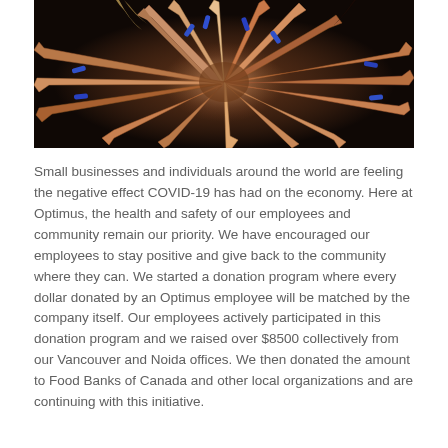[Figure (photo): Overhead view of many diverse hands reaching together in a circle, wearing blue wristbands, against a dark background]
Small businesses and individuals around the world are feeling the negative effect COVID-19 has had on the economy. Here at Optimus, the health and safety of our employees and community remain our priority. We have encouraged our employees to stay positive and give back to the community where they can. We started a donation program where every dollar donated by an Optimus employee will be matched by the company itself. Our employees actively participated in this donation program and we raised over $8500 collectively from our Vancouver and Noida offices. We then donated the amount to Food Banks of Canada and other local organizations and are continuing with this initiative.